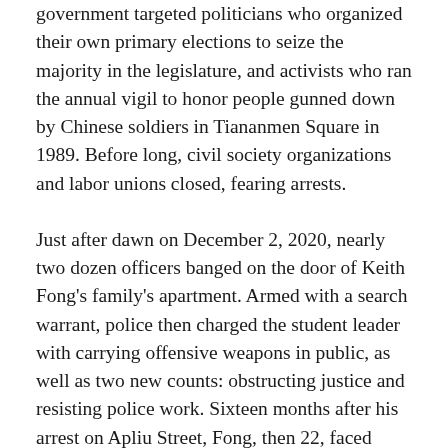government targeted politicians who organized their own primary elections to seize the majority in the legislature, and activists who ran the annual vigil to honor people gunned down by Chinese soldiers in Tiananmen Square in 1989. Before long, civil society organizations and labor unions closed, fearing arrests.
Just after dawn on December 2, 2020, nearly two dozen officers banged on the door of Keith Fong's family's apartment. Armed with a search warrant, police then charged the student leader with carrying offensive weapons in public, as well as two new counts: obstructing justice and resisting police work. Sixteen months after his arrest on Apliu Street, Fong, then 22, faced years in prison.